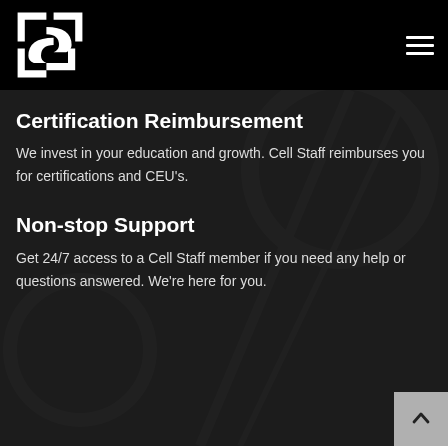Cell Staff logo and navigation header
Certification Reimbursement
We invest in your education and growth. Cell Staff reimburses you for certifications and CEU's.
Non-stop Support
Get 24/7 access to a Cell Staff member if you need any help or questions answered. We're here for you.